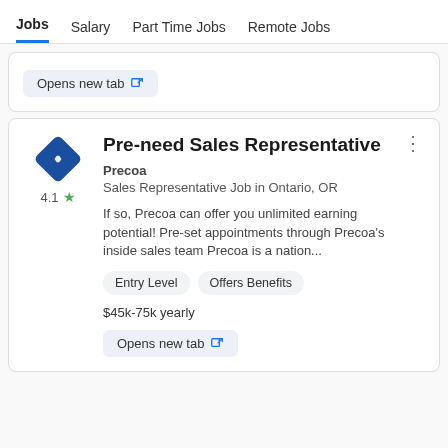Jobs  Salary  Part Time Jobs  Remote Jobs
Opens new tab
Pre-need Sales Representative
Precoa
Sales Representative Job in Ontario, OR
If so, Precoa can offer you unlimited earning potential! Pre-set appointments through Precoa's inside sales team Precoa is a nation...
Entry Level
Offers Benefits
$45k-75k yearly
Opens new tab